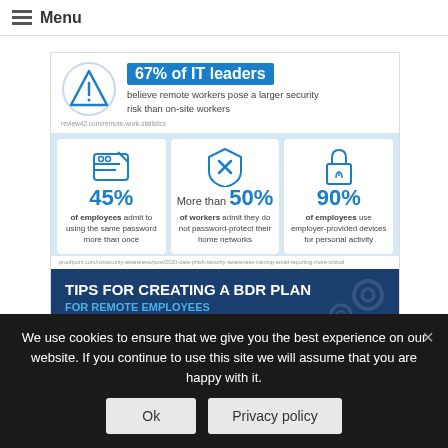Menu
[Figure (infographic): Infographic showing remote worker security statistics: a percentage of IT professionals believe remote workers pose a larger security risk than on-site workers (source: review42.com/remote-work-statistics). Three cards: 45% of employees admit to using the same password more than once; More than 50% of workers admit they do not password-protect their home networks; 90% of employees use employer-provided devices for personal activity. Source: proofpoint.com/us/security-awareness/post/2020-data-phish-security-awareness-training-email-reporting-more-critical]
TIPS FOR CREATING A BDR PLAN FOR REMOTE EMPLOYEES
We use cookies to ensure that we give you the best experience on our website. If you continue to use this site we will assume that you are happy with it.
Ok   Privacy policy